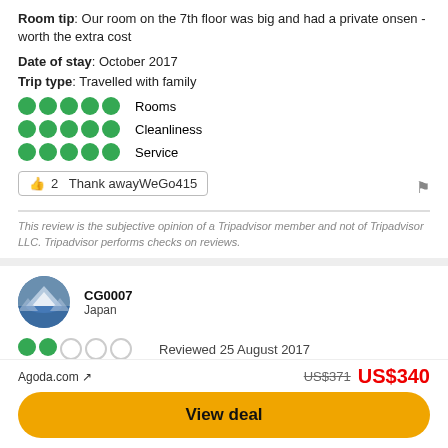Room tip: Our room on the 7th floor was big and had a private onsen - worth the extra cost
Date of stay: October 2017
Trip type: Travelled with family
[Figure (infographic): Three rating rows (Rooms, Cleanliness, Service), each with 5 green filled circles indicating 5-star ratings]
👍 2  Thank awayWeGo415
This review is the subjective opinion of a Tripadvisor member and not of Tripadvisor LLC. Tripadvisor performs checks on reviews.
[Figure (photo): Circular avatar photo of reviewer CG0007 showing a winter mountain landscape]
CG0007
Japan
[Figure (infographic): 2 out of 5 green circles rating]
Reviewed 25 August 2017
If you want to enjoy a room-attached (in-room) Spa, confirm if it woks before getting in
Agoda.com ↗
US$371  US$340
View deal